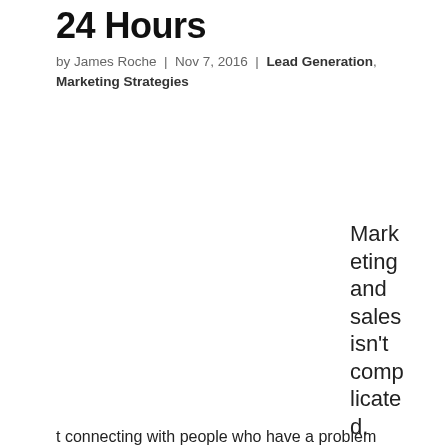24 Hours
by James Roche | Nov 7, 2016 | Lead Generation, Marketing Strategies
Marketing and sales isn't complicated.

Marketing is about connecting with people who have a problem
t connecting with people who have a problem